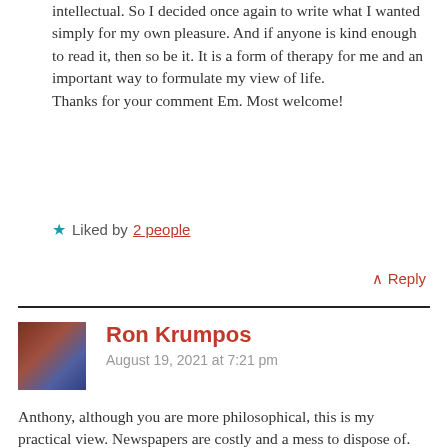intellectual. So I decided once again to write what I wanted simply for my own pleasure. And if anyone is kind enough to read it, then so be it. It is a form of therapy for me and an important way to formulate my view of life.
Thanks for your comment Em. Most welcome!
★ Liked by 2 people
↑ Reply
Ron Krumpos
August 19, 2021 at 7:21 pm
Anthony, although you are more philosophical, this is my practical view. Newspapers are costly and a mess to dispose of. Every day on my Internet home page I read BBC articles on the U.S. and Canada, Europe, Asia, Business, and Science &